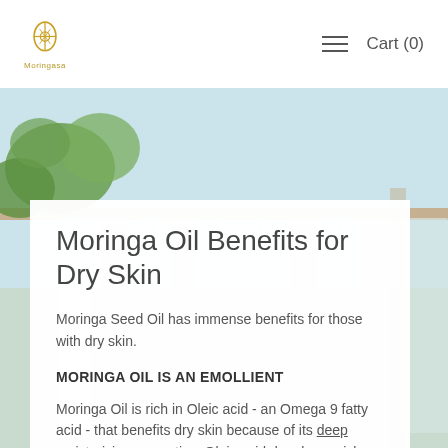Moringa [logo] | Cart (0)
[Figure (photo): Outdoor scene with hanging fabric drapes on a wooden structure, green foliage visible in the upper left, light blue sky in background — serves as hero background image for the Moringa website article page.]
Moringa Oil Benefits for Dry Skin
Moringa Seed Oil has immense benefits for those with dry skin.
MORINGA OIL IS AN EMOLLIENT
Moringa Oil is rich in Oleic acid - an Omega 9 fatty acid - that benefits dry skin because of its deep moisturizing properties. Oleic acid deeply nourishes the skin, reducing the appearance of